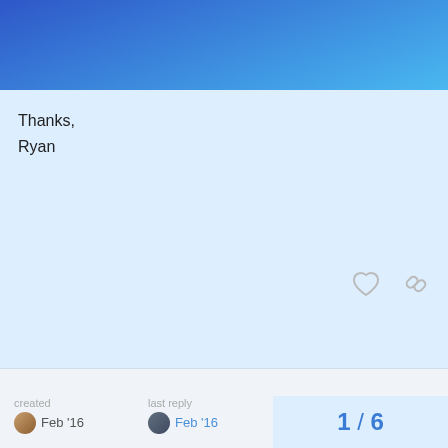Thanks,
Ryan
created Feb '16   last reply Feb '16   5 replies
niclas-ahden   Niclas Åhdén   Feb '16
Hey Ryan,
I was using a setup like that at a previous company. I found that performance and availability became an issue and now I'm working locally.
It came down to the parameters above con…
losing some state when you switch environ…
1 / 6